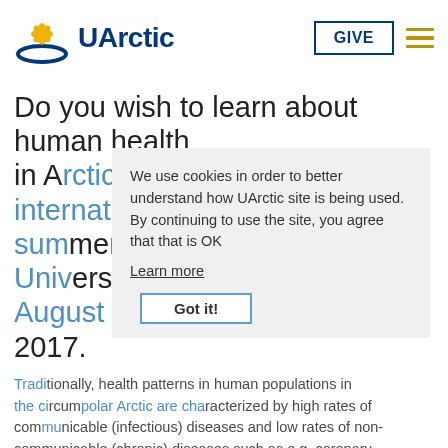[Figure (logo): UArctic logo with flower/sun icon in gold and blue arc, followed by bold text 'UArctic' in dark blue]
Do you wish to learn about human health in Arctic areas? Join the international summer school at University of Copenhagen August 7-25 2017.
Traditionally, health patterns in human populations in the circumpolar Arctic are characterized by high rates of communicable (infectious) diseases and low rates of non-communicable (chronic) diseases such as e.g. coronary
We use cookies in order to better understand how UArctic site is being used. By continuing to use the site, you agree that that is OK
Learn more
Got it!